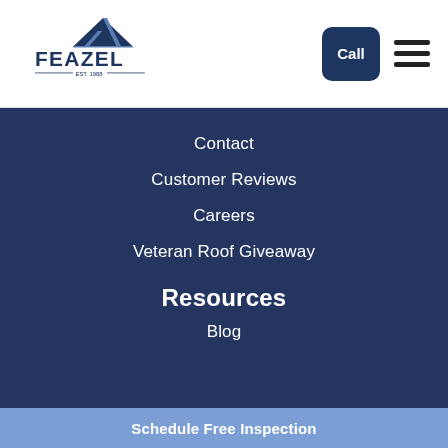[Figure (logo): Feazel roofing company logo with roof triangle icon and text FEAZEL EST. 1988]
Call
Contact
Customer Reviews
Careers
Veteran Roof Giveaway
Resources
Blog
Schedule Free Inspection